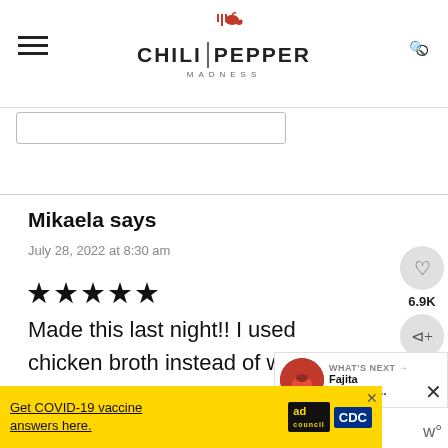CHILI PEPPER MADNESS
[Figure (screenshot): Search bar input field]
Mikaela says
July 28, 2022 at 8:30 am
[Figure (other): 5 star rating (filled stars)]
Made this last night!! I used chicken broth instead of w also used regular chili powder
[Figure (other): What's Next - Fajita Marinade promo widget]
[Figure (other): Get COVID-19 vaccine answers here. Ad council / CDC banner advertisement]